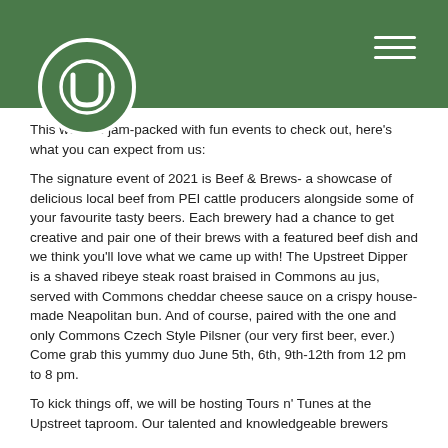[Figure (logo): Upstreet brewery logo: circular white border with stylized U shape inside, on green background header bar]
This week is jam-packed with fun events to check out, here's what you can expect from us:
The signature event of 2021 is Beef & Brews- a showcase of delicious local beef from PEI cattle producers alongside some of your favourite tasty beers. Each brewery had a chance to get creative and pair one of their brews with a featured beef dish and we think you'll love what we came up with! The Upstreet Dipper is a shaved ribeye steak roast braised in Commons au jus, served with Commons cheddar cheese sauce on a crispy house-made Neapolitan bun. And of course, paired with the one and only Commons Czech Style Pilsner (our very first beer, ever.) Come grab this yummy duo June 5th, 6th, 9th-12th from 12 pm to 8 pm.
To kick things off, we will be hosting Tours n' Tunes at the Upstreet taproom. Our talented and knowledgeable brewers